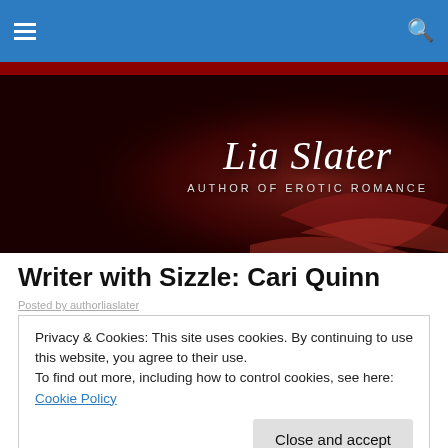[Figure (screenshot): Website navigation bar with blue background, hamburger menu icon on left, search icon on right]
[Figure (illustration): Dark red banner image with two figures in a romantic pose on the left, script text 'Lia Slater' and subtitle 'Author of Erotic Romance' on the right]
Writer with Sizzle: Cari Quinn
Posted by authorliaslater
Privacy & Cookies: This site uses cookies. By continuing to use this website, you agree to their use.
To find out more, including how to control cookies, see here: Cookie Policy
Close and accept
grade, much to the delight of the nuns at her Catholic